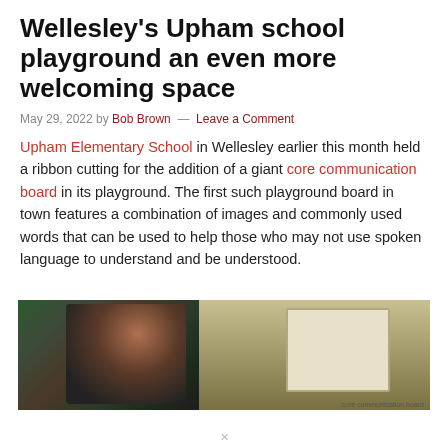Wellesley's Upham school playground an even more welcoming space
May 29, 2022 by Bob Brown — Leave a Comment
Upham Elementary School in Wellesley earlier this month held a ribbon cutting for the addition of a giant core communication board in its playground. The first such playground board in town features a combination of images and commonly used words that can be used to help those who may not use spoken language to understand and be understood.
[Figure (photo): Photo of people at Upham Elementary School playground ribbon cutting with a core communication board visible in the background]